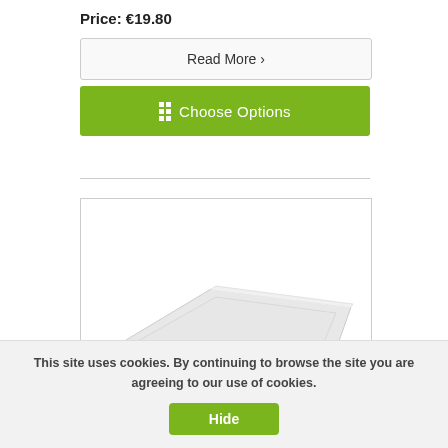Price: €19.80
Read More ›
≡  Choose Options
[Figure (photo): A white rectangular shallow tray/dish product on a white background, partially cropped.]
This site uses cookies. By continuing to browse the site you are agreeing to our use of cookies.
Hide